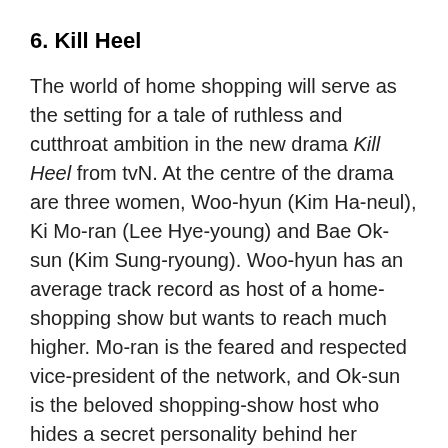6. Kill Heel
The world of home shopping will serve as the setting for a tale of ruthless and cutthroat ambition in the new drama Kill Heel from tvN. At the centre of the drama are three women, Woo-hyun (Kim Ha-neul), Ki Mo-ran (Lee Hye-young) and Bae Ok-sun (Kim Sung-ryoung). Woo-hyun has an average track record as host of a home-shopping show but wants to reach much higher. Mo-ran is the feared and respected vice-president of the network, and Ok-sun is the beloved shopping-show host who hides a secret personality behind her outward magnanimity. (tvN, February 23)